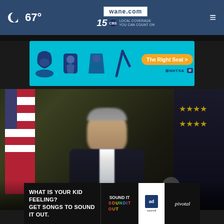67° — wane.com 15 LOCAL COVERAGE YOU CAN COUNT ON
[Figure (screenshot): NHTSA car seat safety advertisement banner with cyan background showing car seat icons and 'The Right Seat >' button]
[Figure (photo): Video still of a man in a suit speaking, with an American flag and military flag in the background, appearing to be an official address]
[Figure (screenshot): Advertisement: 'WHAT IS YOUR KID FEELING? GET SONGS TO SOUND IT OUT.' with Sound It Out and Ad Council logos]